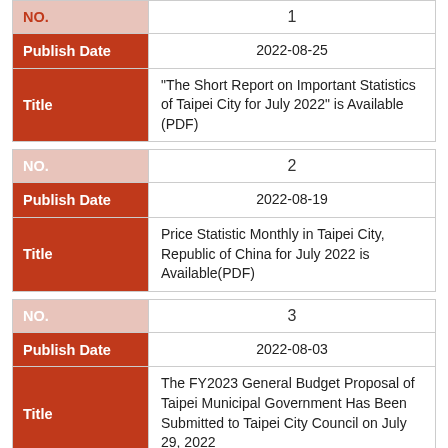| Field | Value |
| --- | --- |
| NO. | 1 |
| Publish Date | 2022-08-25 |
| Title | “The Short Report on Important Statistics of Taipei City for July 2022” is Available (PDF) |
| NO. | 2 |
| Publish Date | 2022-08-19 |
| Title | Price Statistic Monthly in Taipei City, Republic of China for July 2022 is Available(PDF) |
| NO. | 3 |
| Publish Date | 2022-08-03 |
| Title | The FY2023 General Budget Proposal of Taipei Municipal Government Has Been Submitted to Taipei City Council on July 29, 2022 |
| NO. | 4 |